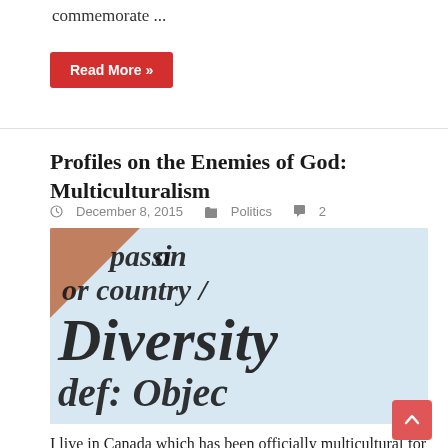commemorate ...
Read More »
Profiles on the Enemies of God: Multiculturalism
December 8, 2015   Politics   2
[Figure (photo): Close-up photo of a document or dictionary page showing words: passion, or country, Diversity, def: Object]
I live in Canada which has been officially multicultural for a few decades now and it is horrible. We have no national identity, no values other than the hollow anti-